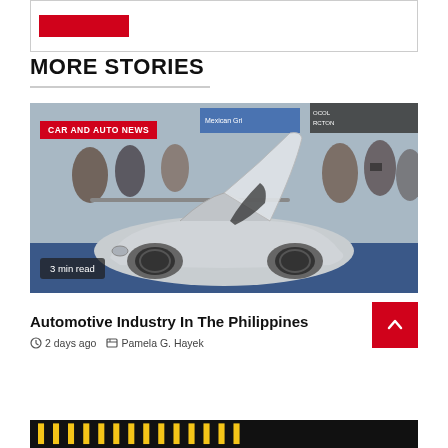[Figure (other): Red rectangle bar (partial article image at top of page)]
MORE STORIES
[Figure (photo): Photo of a futuristic silver concept car with scissor doors open, at a public event with crowds in the background. Badge: CAR AND AUTO NEWS. Badge: 3 min read.]
Automotive Industry In The Philippines
2 days ago   Pamela G. Hayek
[Figure (other): Bottom banner with yellow bold text on black background (partial, cut off at bottom of page)]